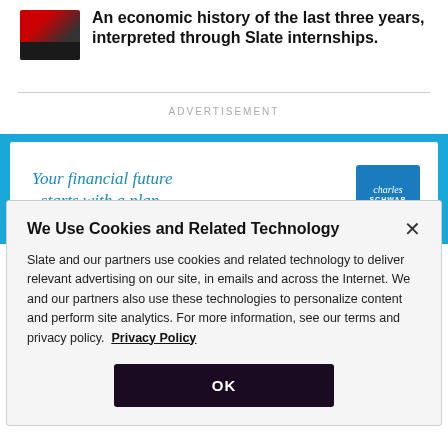An economic history of the last three years, interpreted through Slate internships.
ADVERTISEMENT
[Figure (infographic): Charles Schwab advertisement banner with text 'Your financial future starts with a plan.' and Charles Schwab logo on blue background]
We Use Cookies and Related Technology
Slate and our partners use cookies and related technology to deliver relevant advertising on our site, in emails and across the Internet. We and our partners also use these technologies to personalize content and perform site analytics. For more information, see our terms and privacy policy. Privacy Policy
OK